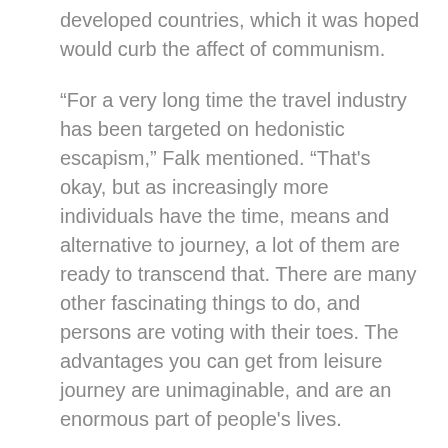developed countries, which it was hoped would curb the affect of communism.
“For a very long time the travel industry has been targeted on hedonistic escapism,” Falk mentioned. “That's okay, but as increasingly more individuals have the time, means and alternative to journey, a lot of them are ready to transcend that. There are many other fascinating things to do, and persons are voting with their toes. The advantages you can get from leisure journey are unimaginable, and are an enormous part of people's lives.
The World Tourism Organization stories the following ten destinations as probably the most visited when it comes to the variety of international vacationers in 2018. The